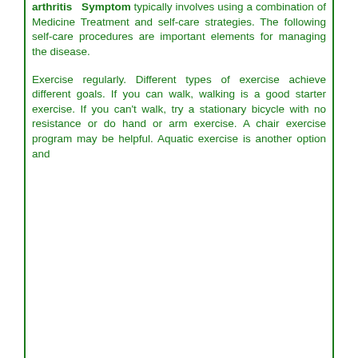arthritis Symptom typically involves using a combination of Medicine Treatment and self-care strategies. The following self-care procedures are important elements for managing the disease.
Exercise regularly. Different types of exercise achieve different goals. If you can walk, walking is a good starter exercise. If you can't walk, try a stationary bicycle with no resistance or do hand or arm exercise. A chair exercise program may be helpful. Aquatic exercise is another option and...